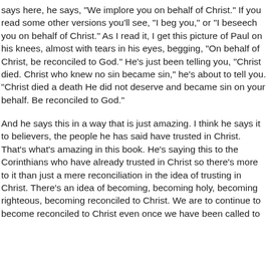says here, he says, "We implore you on behalf of Christ." If you read some other versions you'll see, "I beg you," or "I beseech you on behalf of Christ." As I read it, I get this picture of Paul on his knees, almost with tears in his eyes, begging, "On behalf of Christ, be reconciled to God." He's just been telling you, "Christ died. Christ who knew no sin became sin," he's about to tell you. "Christ died a death He did not deserve and became sin on your behalf. Be reconciled to God."
And he says this in a way that is just amazing. I think he says it to believers, the people he has said have trusted in Christ. That's what's amazing in this book. He's saying this to the Corinthians who have already trusted in Christ so there's more to it than just a mere reconciliation in the idea of trusting in Christ. There's an idea of becoming, becoming holy, becoming righteous, becoming reconciled to Christ. We are to continue to become reconciled to Christ even once we have been called to